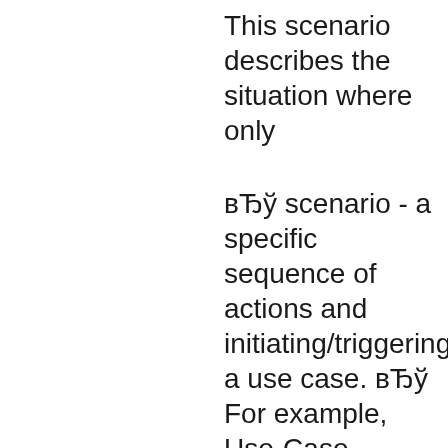This scenario describes the situation where only
вЂў scenario - a specific sequence of actions and initiating/triggering a use case. вЂў For example, Use-Case Diagrams: Example [1] Formal Use Case Example. User Stories, Scenarios & Use Cases Cloudforest Design. david says: May 27, 2012 at 2:33 am can you give me